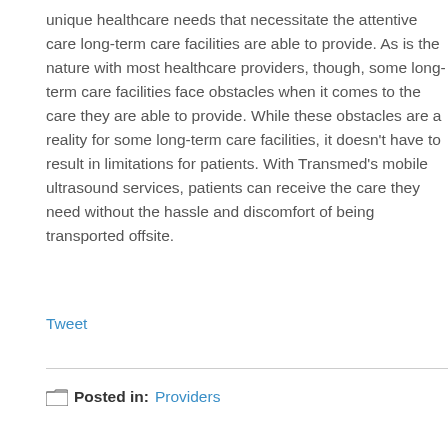unique healthcare needs that necessitate the attentive care long-term care facilities are able to provide. As is the nature with most healthcare providers, though, some long-term care facilities face obstacles when it comes to the care they are able to provide. While these obstacles are a reality for some long-term care facilities, it doesn't have to result in limitations for patients. With Transmed's mobile ultrasound services, patients can receive the care they need without the hassle and discomfort of being transported offsite.
Tweet
Posted in: Providers